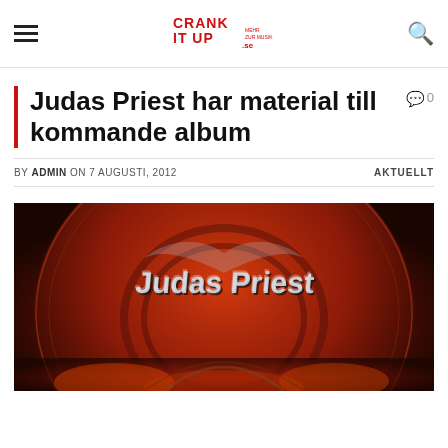CRANK IT UP .se — navigation header with hamburger menu and search icon
Judas Priest har material till kommande album
BY ADMIN ON 7 AUGUSTI, 2012   AKTUELLT
[Figure (photo): Judas Priest band logo on a fiery red circular background — album artwork style image]